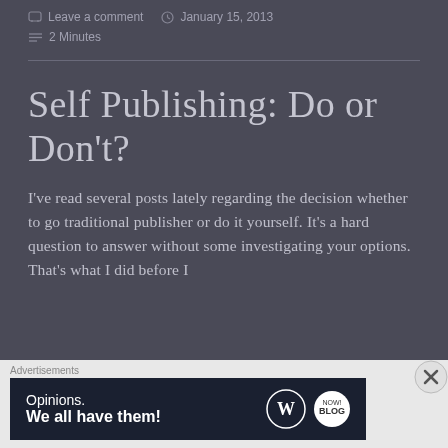Leave a comment   January 15, 2013   2 Minutes
Self Publishing: Do or Don't?
I've read several posts lately regarding the decision whether to go traditional publisher or do it yourself. It's a hard question to answer without some investigating your options. That's what I did before I
Advertisements
[Figure (other): WordPress advertisement banner reading 'Opinions. We all have them!' with WordPress logo and a second circular logo on dark navy background]